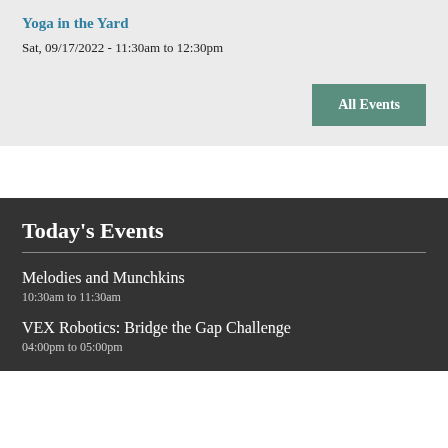Yoga in the Yard
Sat, 09/17/2022 - 11:30am to 12:30pm
All Events
Today's Events
Melodies and Munchkins
10:30am to 11:30am
VEX Robotics: Bridge the Gap Challenge
04:00pm to 05:00pm